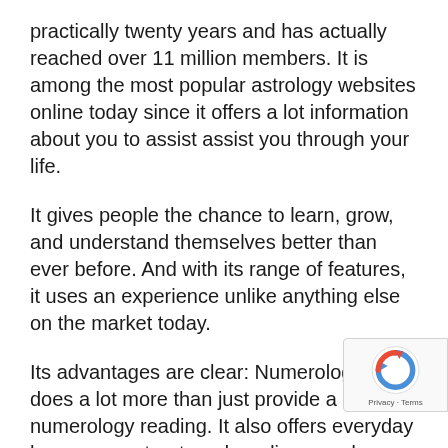practically twenty years and has actually reached over 11 million members. It is among the most popular astrology websites online today since it offers a lot information about you to assist assist you through your life.
It gives people the chance to learn, grow, and understand themselves better than ever before. And with its range of features, it uses an experience unlike anything else on the market today.
Its advantages are clear: Numerologist does a lot more than just provide a numerology reading. It also offers everyday horoscopes, tarot card readings, and individualized birth charts for members to explore their future.